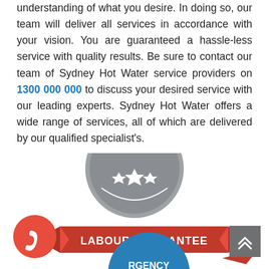understanding of what you desire. In doing so, our team will deliver all services in accordance with your vision. You are guaranteed a hassle-less service with quality results. Be sure to contact our team of Sydney Hot Water service providers on 1300 000 000 to discuss your desired service with our leading experts. Sydney Hot Water offers a wide range of services, all of which are delivered by our qualified specialist's.
[Figure (illustration): A grey badge seal with text 'BACKED BY OUR FULL' curved at the top, three stars in the centre, and a red ribbon banner across the middle reading 'LABOUR GUARANTEE'. Below the badge, a partially visible blue circle with text 'RGENCY' visible at the bottom of the page.]